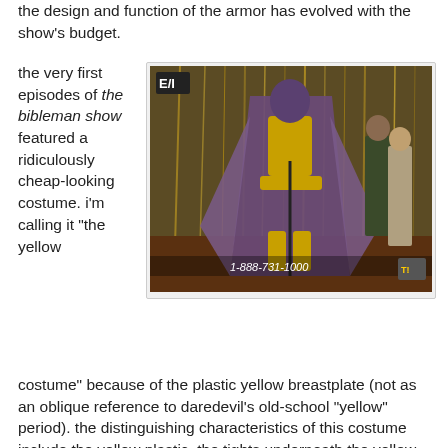the design and function of the armor has evolved with the show's budget.
the very first episodes of the bibleman show featured a ridiculously cheap-looking costume. i'm calling it "the yellow
[Figure (photo): A person dressed in a purple cape and yellow superhero costume standing on a stage with a glittery backdrop. Two other people stand to the right. A TV watermark shows 'E/I' in the upper left and '1-888-731-1000' at the bottom.]
costume" because of the plastic yellow breastplate (not as an oblique reference to daredevil's old-school "yellow" period). the distinguishing characteristics of this costume include the yellow plastic, the tights underneath the yellow plastic, and the rudimentary helmet, with its yellow M design that is probably supposed to resemble a crown. other